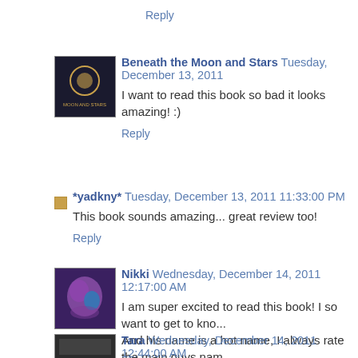Reply
Beneath the Moon and Stars  Tuesday, December 13, 2011
I want to read this book so bad it looks amazing! :)
Reply
*yadkny*  Tuesday, December 13, 2011 11:33:00 PM
This book sounds amazing... great review too!
Reply
Nikki  Wednesday, December 14, 2011 12:17:00 AM
I am super excited to read this book! I so want to get to kno... And his name is a hot name, I always rate the main guys nam...
Reply
Tara  Wednesday, December 14, 2011 12:44:00 AM